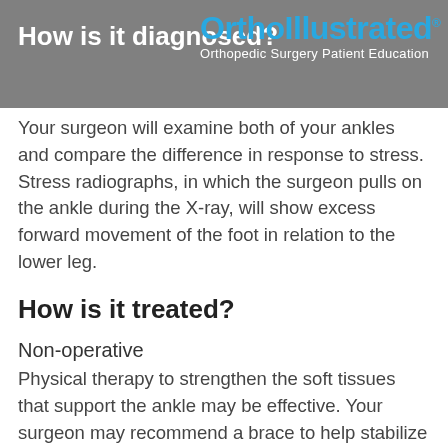How is it diagnosed?
[Figure (logo): OrthoIllustrated logo with tagline: Orthopedic Surgery Patient Education]
Your surgeon will examine both of your ankles and compare the difference in response to stress. Stress radiographs, in which the surgeon pulls on the ankle during the X-ray, will show excess forward movement of the foot in relation to the lower leg.
How is it treated?
Non-operative
Physical therapy to strengthen the soft tissues that support the ankle may be effective. Your surgeon may recommend a brace to help stabilize the ankle during physical activity. A